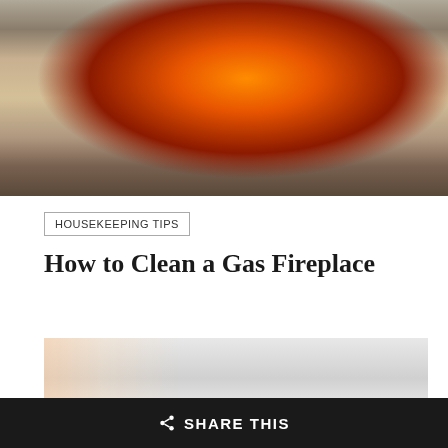[Figure (photo): Interior living room with a lit gas fireplace, decorative vases, patterned sofa, and plants on a coffee table]
HOUSEKEEPING TIPS
How to Clean a Gas Fireplace
[Figure (photo): Open dishwasher with white plates and dishes loaded in the rack, kitchen background]
SHARE THIS